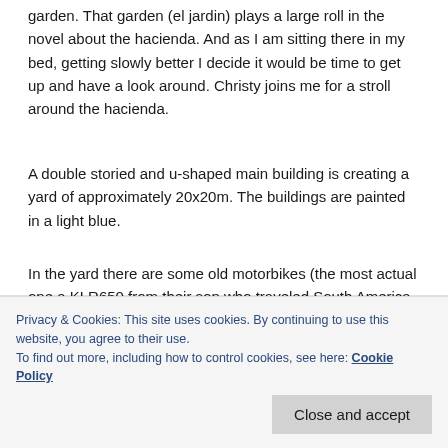garden. That garden (el jardin) plays a large roll in the novel about the hacienda. And as I am sitting there in my bed, getting slowly better I decide it would be time to get up and have a look around. Christy joins me for a stroll around the hacienda.
A double storied and u-shaped main building is creating a yard of approximately 20x20m. The buildings are painted in a light blue.
In the yard there are some old motorbikes (the most actual one a KLR650 from their son who traveled South America with it). An old Land Rover, a classic Ford, and a first generation Unimog are standing around. The open side of the u-shaped main building is closed by a wall, a
Privacy & Cookies: This site uses cookies. By continuing to use this website, you agree to their use.
To find out more, including how to control cookies, see here: Cookie Policy
and full garden with lots of different flowers and plants. A